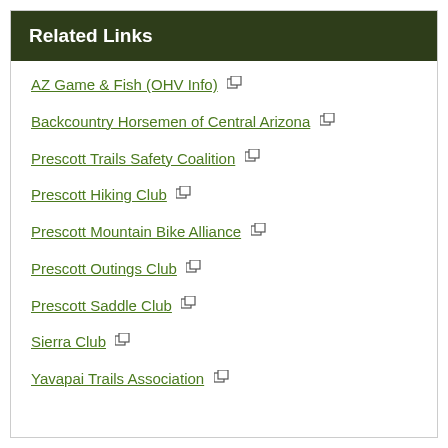Related Links
AZ Game & Fish (OHV Info)
Backcountry Horsemen of Central Arizona
Prescott Trails Safety Coalition
Prescott Hiking Club
Prescott Mountain Bike Alliance
Prescott Outings Club
Prescott Saddle Club
Sierra Club
Yavapai Trails Association